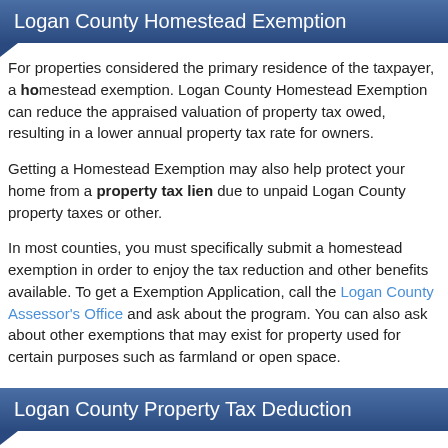Logan County Homestead Exemption
For properties considered the primary residence of the taxpayer, a homestead exemption. Logan County Homestead Exemption can reduce the appraised valuation of property tax owed, resulting in a lower annual property tax rate for owners.
Getting a Homestead Exemption may also help protect your home from a property tax lien due to unpaid Logan County property taxes or other.
In most counties, you must specifically submit a homestead exemption in order to enjoy the tax reduction and other benefits available. To get a Exemption Application, call the Logan County Assessor's Office and ask about the program. You can also ask about other exemptions that may exist for property used for certain purposes such as farmland or open space.
Logan County Property Tax Deduction
You can usually deduct 100% of your Logan County property taxes from your Income Tax Return as an itemized deduction. Kansas may also let you deduct property taxes on your Kansas income tax return.